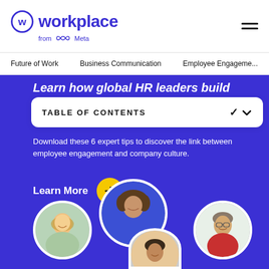Workplace from Meta
Future of Work   Business Communication   Employee Engagement
Learn how global HR leaders build
TABLE OF CONTENTS
Download these 6 expert tips to discover the link between employee engagement and company culture.
Learn More
[Figure (illustration): Three circular portrait photos of smiling people on a blue background]